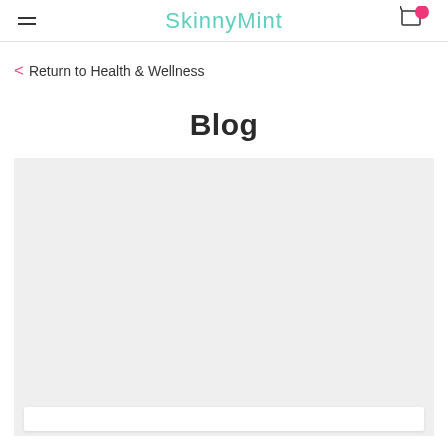SkinnyMint
< Return to Health & Wellness
Blog
[Figure (photo): Large light gray image placeholder for blog featured image]